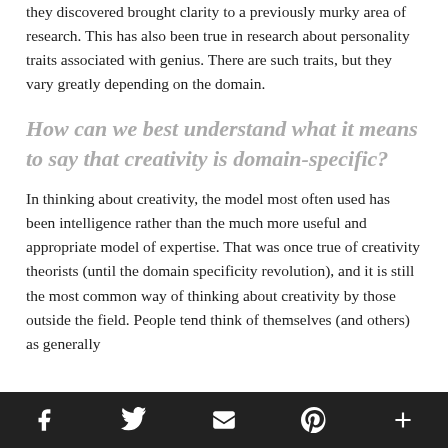they discovered brought clarity to a previously murky area of research. This has also been true in research about personality traits associated with genius. There are such traits, but they vary greatly depending on the domain.
How can we best understand what it means to say that creativity is domain-specific?
In thinking about creativity, the model most often used has been intelligence rather than the much more useful and appropriate model of expertise. That was once true of creativity theorists (until the domain specificity revolution), and it is still the most common way of thinking about creativity by those outside the field. People tend think of themselves (and others) as generally
f  [twitter]  [email]  p  +